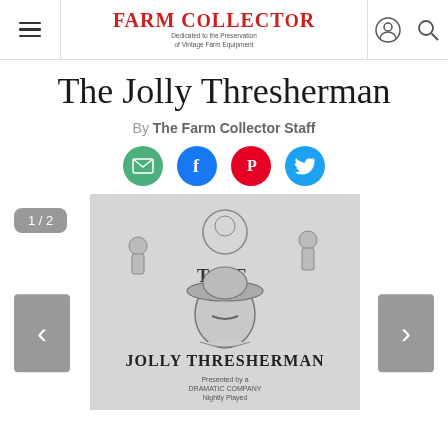Farm Collector — Dedicated to the Preservation of Vintage Farm Equipment
The Jolly Thresherman
By The Farm Collector Staff
[Figure (infographic): Social share buttons: email (green), Facebook (blue), Pinterest (red), Twitter (blue)]
[Figure (photo): Vintage black and white illustrated sheet music or poster cover titled 'The Jolly Thresherman', showing a man in a cowboy hat with a mustache, surrounded by farming scenes and figures. Slide 1 of 2.]